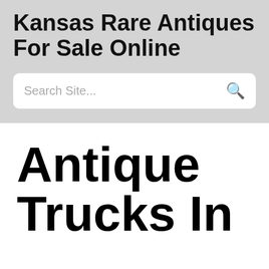Kansas Rare Antiques For Sale Online
Search Site...
Antique Trucks In